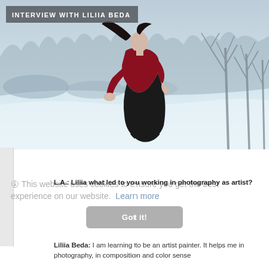INTERVIEW WITH LILIIA BEDA
[Figure (photo): Woman in red top and black skirt bending forward dramatically in a snowy winter landscape with bare trees in the background]
🛈 This website uses cookies to ensure you get the best experience on our website. Learn more
Got it!
L.A.: Liliia what led to you working in photography as artist?
Liliia Beda: I am learning to be an artist painter. It helps me in photography, in composition and color sense